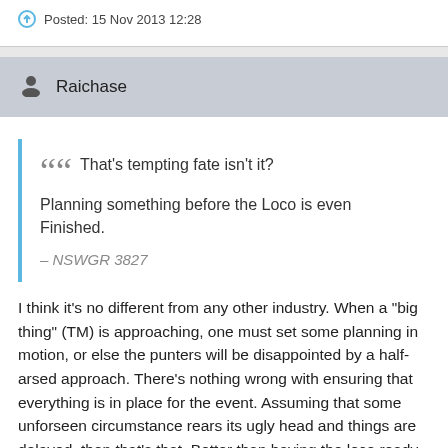Posted: 15 Nov 2013 12:28
Raichase
That's tempting fate isn't it? Planning something before the Loco is even Finished.

— NSWGR 3827
I think it's no different from any other industry. When a "big thing" (TM) is approaching, one must set some planning in motion, or else the punters will be disappointed by a half-arsed approach. There's nothing wrong with ensuring that everything is in place for the event. Assuming that some unforseen circumstance rears its ugly head and things are delayed, then that's that. Better than having the loco ready